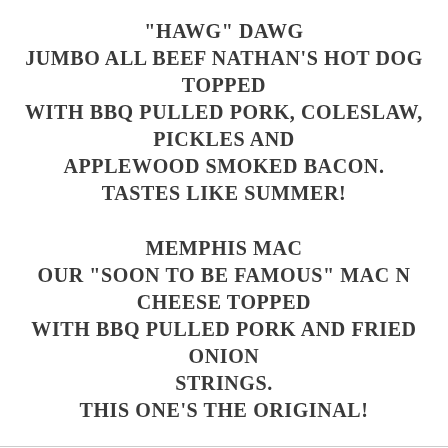"HAWG" DAWG JUMBO ALL BEEF NATHAN'S HOT DOG TOPPED WITH BBQ PULLED PORK, COLESLAW, PICKLES AND APPLEWOOD SMOKED BACON. TASTES LIKE SUMMER!
MEMPHIS MAC OUR "SOON TO BE FAMOUS" MAC N CHEESE TOPPED WITH BBQ PULLED PORK AND FRIED ONION STRINGS. THIS ONE'S THE ORIGINAL!
This website uses cookies.
We use cookies to analyze website traffic and optimize your website experience. By accepting our use of cookies...